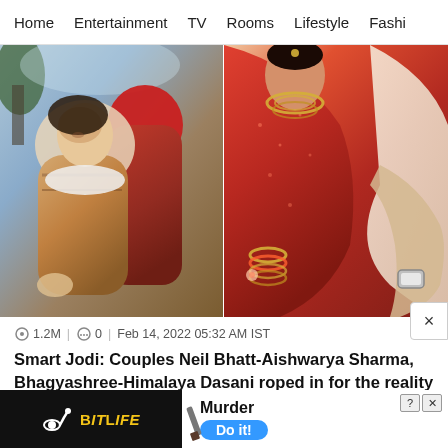Home  Entertainment  TV  Rooms  Lifestyle  Fashi
[Figure (photo): Two side-by-side photos: left shows a couple in winter clothing outdoors, right shows a woman in a red saree with gold jewelry, with a man's arm around her.]
1.2M  |  0  |  Feb 14, 2022 05:32 AM IST
Smart Jodi: Couples Neil Bhatt-Aishwarya Sharma, Bhagyashree-Himalaya Dasani roped in for the reality show
[Figure (screenshot): Advertisement: BitLife game ad showing a police hat on a light blue background, with 'BitLife' logo in yellow on black, and 'Murder Do it!' button below.]